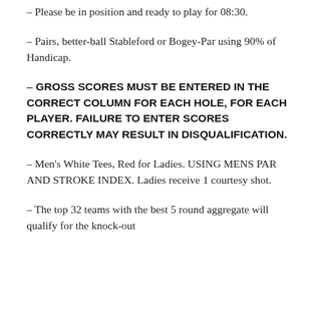– Please be in position and ready to play for 08:30.
– Pairs, better-ball Stableford or Bogey-Par using 90% of Handicap.
– GROSS SCORES MUST BE ENTERED IN THE CORRECT COLUMN FOR EACH HOLE, FOR EACH PLAYER. FAILURE TO ENTER SCORES CORRECTLY MAY RESULT IN DISQUALIFICATION.
– Men's White Tees, Red for Ladies. USING MENS PAR AND STROKE INDEX. Ladies receive 1 courtesy shot.
– The top 32 teams with the best 5 round aggregate will qualify for the knock-out